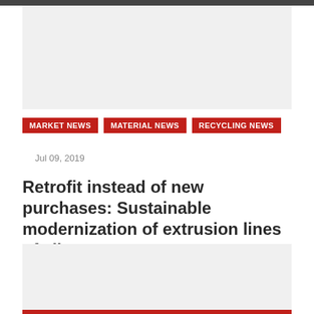[Figure (other): Gray placeholder image at top of article]
MARKET NEWS | MATERIAL NEWS | RECYCLING NEWS
Jul 09, 2019
Retrofit instead of new purchases: Sustainable modernization of extrusion lines of all…
[Figure (other): Gray placeholder image below article title]